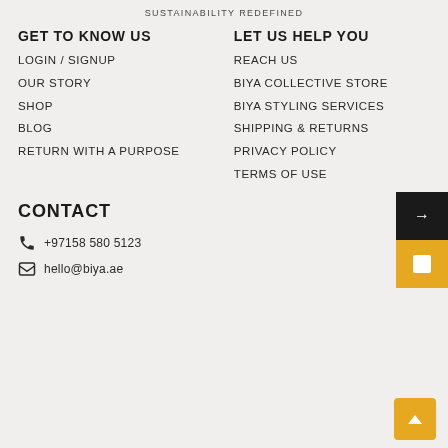SUSTAINABILITY REDEFINED
GET TO KNOW US
LOGIN / SIGNUP
OUR STORY
SHOP
BLOG
RETURN WITH A PURPOSE
LET US HELP YOU
REACH US
BIYA COLLECTIVE STORE
BIYA STYLING SERVICES
SHIPPING & RETURNS
PRIVACY POLICY
TERMS OF USE
CONTACT
+97158 580 5123
hello@biya.ae